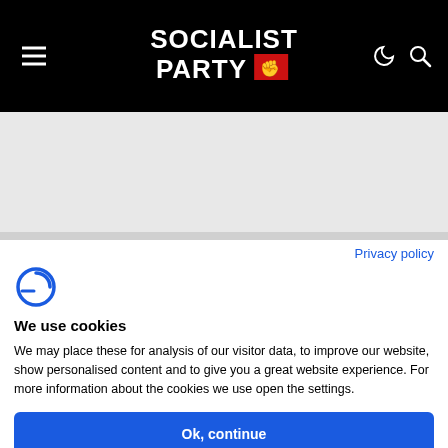Socialist Party
Privacy policy
[Figure (logo): Cookie consent logo icon - stylized C with arc]
We use cookies
We may place these for analysis of our visitor data, to improve our website, show personalised content and to give you a great website experience. For more information about the cookies we use open the settings.
Ok, continue
Deny
No, adjust